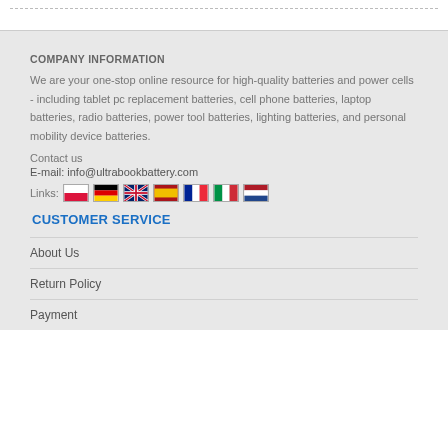COMPANY INFORMATION
We are your one-stop online resource for high-quality batteries and power cells - including tablet pc replacement batteries, cell phone batteries, laptop batteries, radio batteries, power tool batteries, lighting batteries, and personal mobility device batteries.
Contact us
E-mail: info@ultrabookbattery.com
Links: [flags for Poland, Germany, UK, Spain, France, Italy, Netherlands]
CUSTOMER SERVICE
About Us
Return Policy
Payment